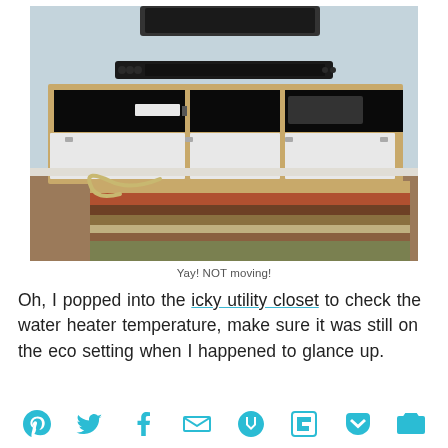[Figure (photo): A wall-mounted floating media console with wood frame and white panel doors, containing media equipment on open shelves. A soundbar is mounted below a TV on a light blue wall. A colorful area rug is visible on the hardwood floor below.]
Yay!  NOT moving!
Oh, I popped into the icky utility closet to check the water heater temperature, make sure it was still on the eco setting when I happened to glance up.
[Figure (infographic): Row of social sharing icons in cyan/teal color: Pinterest, Twitter, Facebook, Email, Kaboodle, Flipboard, Pocket/Instapaper, and a camera/other icon.]